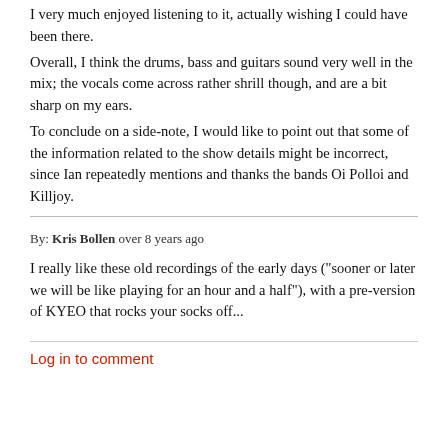I very much enjoyed listening to it, actually wishing I could have been there.
Overall, I think the drums, bass and guitars sound very well in the mix; the vocals come across rather shrill though, and are a bit sharp on my ears.
To conclude on a side-note, I would like to point out that some of the information related to the show details might be incorrect, since Ian repeatedly mentions and thanks the bands Oi Polloi and Killjoy.
By: Kris Bollen over 8 years ago
I really like these old recordings of the early days ("sooner or later we will be like playing for an hour and a half"), with a pre-version of KYEO that rocks your socks off...
Log in to comment